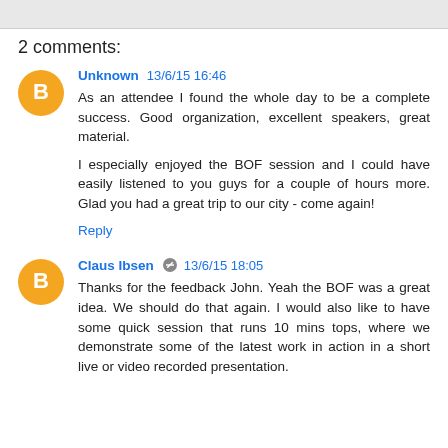2 comments:
Unknown 13/6/15 16:46
As an attendee I found the whole day to be a complete success. Good organization, excellent speakers, great material.

I especially enjoyed the BOF session and I could have easily listened to you guys for a couple of hours more. Glad you had a great trip to our city - come again!
Reply
Claus Ibsen 13/6/15 18:05
Thanks for the feedback John. Yeah the BOF was a great idea. We should do that again. I would also like to have some quick session that runs 10 mins tops, where we demonstrate some of the latest work in action in a short live or video recorded presentation.